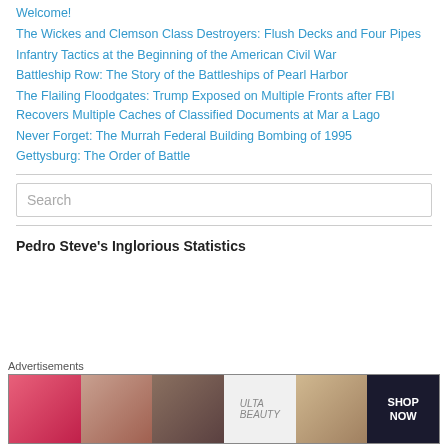Welcome!
The Wickes and Clemson Class Destroyers: Flush Decks and Four Pipes
Infantry Tactics at the Beginning of the American Civil War
Battleship Row: The Story of the Battleships of Pearl Harbor
The Flailing Floodgates: Trump Exposed on Multiple Fronts after FBI Recovers Multiple Caches of Classified Documents at Mar a Lago
Never Forget: The Murrah Federal Building Bombing of 1995
Gettysburg: The Order of Battle
[Figure (other): Search input box with placeholder text 'Search']
Pedro Steve's Inglorious Statistics
[Figure (other): Advertisement banner showing Ulta Beauty cosmetics ad with 'SHOP NOW' text]